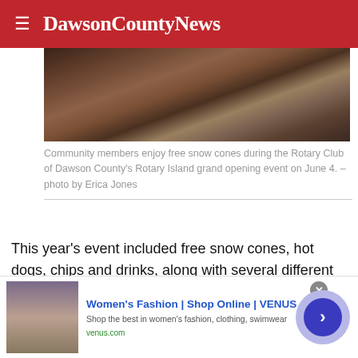DawsonCountyNews
[Figure (photo): Community members at a table during the Rotary Island grand opening event, seen from above with dark background tones.]
Community members enjoy free snow cones during the Rotary Club of Dawson County's Rotary Island grand opening event on June 4. – photo by Erica Jones
This year's event included free snow cones, hot dogs, chips and drinks, along with several different fun activities for all ages like face painting, lawn games and arts and crafts. Several local nonprofits, including The Place of Dawson
Women's Fashion | Shop Online | VENUS
Shop the best in women's fashion, clothing, swimwear
venus.com